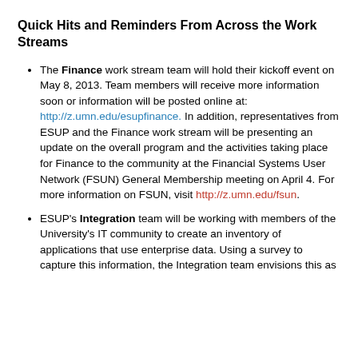Quick Hits and Reminders From Across the Work Streams
The Finance work stream team will hold their kickoff event on May 8, 2013. Team members will receive more information soon or information will be posted online at: http://z.umn.edu/esupfinance. In addition, representatives from ESUP and the Finance work stream will be presenting an update on the overall program and the activities taking place for Finance to the community at the Financial Systems User Network (FSUN) General Membership meeting on April 4. For more information on FSUN, visit http://z.umn.edu/fsun.
ESUP's Integration team will be working with members of the University's IT community to create an inventory of applications that use enterprise data. Using a survey to capture this information, the Integration team envisions this as